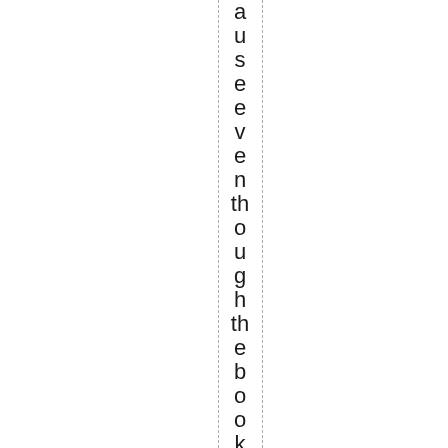a u s e e v e n t h o u g h t h e b o o k w o n t h e N st